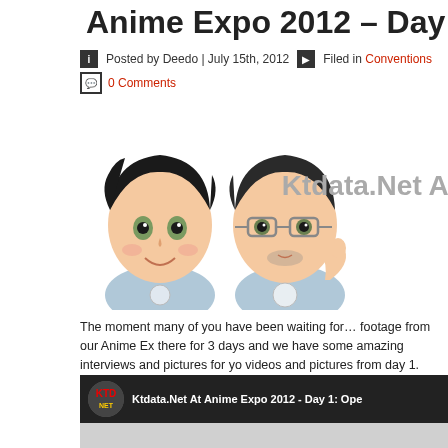Anime Expo 2012 – Day 1
Posted by Deedo | July 15th, 2012   Filed in Conventions
0 Comments
[Figure (illustration): Two anime-style avatar characters side by side, and the text 'Ktdata.Net At' partially visible]
The moment many of you have been waiting for… footage from our Anime Ex... there for 3 days and we have some amazing interviews and pictures for you... videos and pictures from day 1.
[Figure (screenshot): YouTube video thumbnail showing 'Ktdata.Net At Anime Expo 2012 - Day 1: Ope...' with a banner reading 'OME TO' and a YouTube play button]